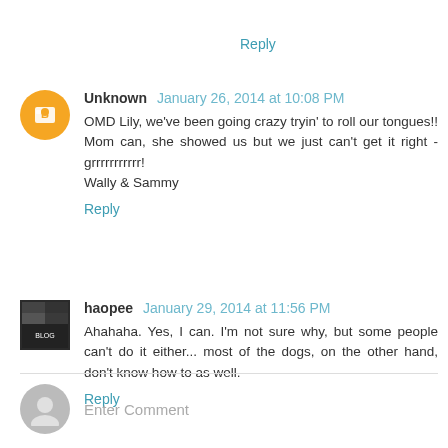Reply
Unknown January 26, 2014 at 10:08 PM
OMD Lily, we've been going crazy tryin' to roll our tongues!! Mom can, she showed us but we just can't get it right - grrrrrrrrrrr!
Wally & Sammy
Reply
haopee January 29, 2014 at 11:56 PM
Ahahaha. Yes, I can. I'm not sure why, but some people can't do it either... most of the dogs, on the other hand, don't know how to as well.
Reply
Enter Comment